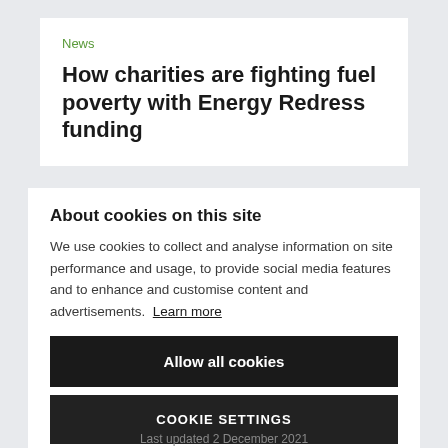News
How charities are fighting fuel poverty with Energy Redress funding
About cookies on this site
We use cookies to collect and analyse information on site performance and usage, to provide social media features and to enhance and customise content and advertisements. Learn more
Allow all cookies
COOKIE SETTINGS
Last updated 2 December 2021